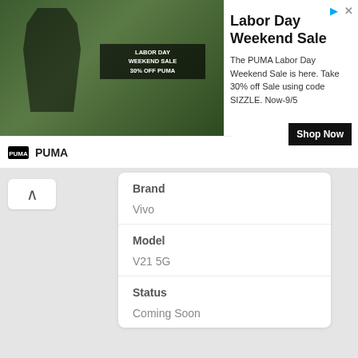[Figure (screenshot): PUMA Labor Day Weekend Sale advertisement banner with athlete image and promotional text]
Labor Day Weekend Sale
The PUMA Labor Day Weekend Sale is here. Take 30% off Sale using code SIZZLE. Now-9/5
Shop Now
PUMA
| Brand |  |
| Vivo |  |
| Model |  |
| V21 5G |  |
| Status |  |
| Coming Soon |  |
Launch
Announced